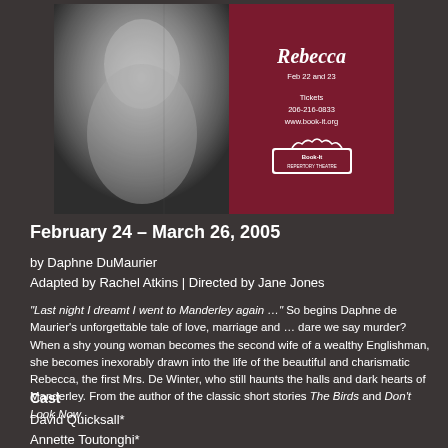[Figure (other): Theatrical poster for Rebecca featuring a black and white photo of a woman on the left and maroon panel on the right with title text, dates Feb 22 and 23, Tickets 206-216-0833, www.book-it.org, and Book-It Repertory Theatre logo]
February 24 – March 26, 2005
by Daphne DuMaurier
Adapted by Rachel Atkins | Directed by Jane Jones
"Last night I dreamt I went to Manderley again …" So begins Daphne de Maurier's unforgettable tale of love, marriage and … dare we say murder? When a shy young woman becomes the second wife of a wealthy Englishman, she becomes inexorably drawn into the life of the beautiful and charismatic Rebecca, the first Mrs. De Winter, who still haunts the halls and dark hearts of Manderley. From the author of the classic short stories The Birds and Don't Look Now.
Cast
David Quicksall*
Annette Toutonghi*
Janet Haley